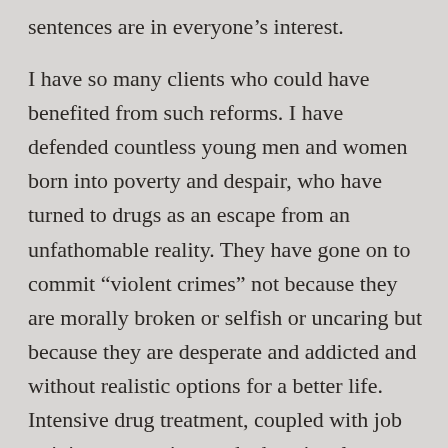sentences are in everyone's interest.
I have so many clients who could have benefited from such reforms. I have defended countless young men and women born into poverty and despair, who have turned to drugs as an escape from an unfathomable reality. They have gone on to commit “violent crimes” not because they are morally broken or selfish or uncaring but because they are desperate and addicted and without realistic options for a better life. Intensive drug treatment, coupled with job training, mentoring, and educational assistance, would be a game changer.